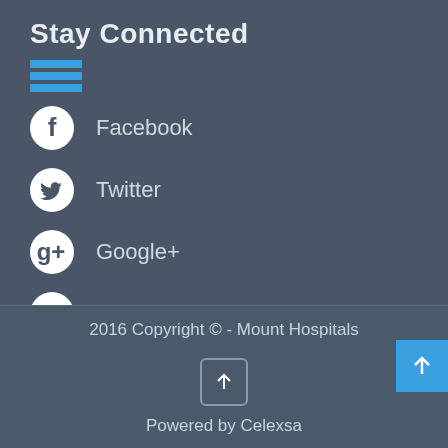Stay Connected
Facebook
Twitter
Google+
Pinterest
2016 Copyright © - Mount Hospitals
Powered by Celexsa